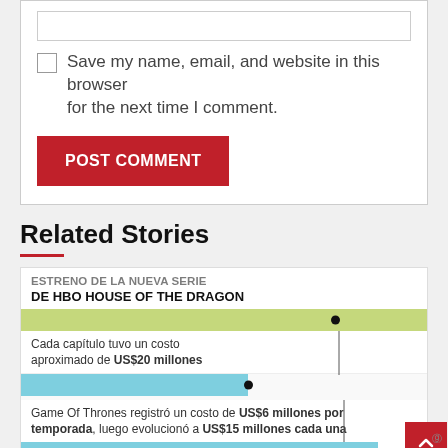Save my name, email, and website in this browser for the next time I comment.
POST COMMENT
Related Stories
ESTRENO DE LA NUEVA SERIE DE HBO HOUSE OF THE DRAGON
Cada capítulo tuvo un costo aproximado de US$20 millones
Game Of Thrones registró un costo de US$6 millones por temporada, luego evolucionó a US$15 millones cada una
2 min read